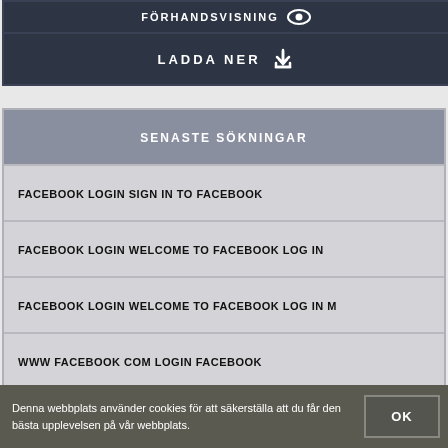[Figure (screenshot): Top bar with FÖRHANDSVISNING (preview) button and eye icon]
LADDA NER
SENASTE SÖKNINGAR
FACEBOOK LOGIN SIGN IN TO FACEBOOK
FACEBOOK LOGIN WELCOME TO FACEBOOK LOG IN
FACEBOOK LOGIN WELCOME TO FACEBOOK LOG IN M
WWW FACEBOOK COM LOGIN FACEBOOK
WWW.FACEBOOK.COM LOGIN FACEBOOK
Denna webbplats använder cookies för att säkerställa att du får den bästa upplevelsen på vår webbplats.